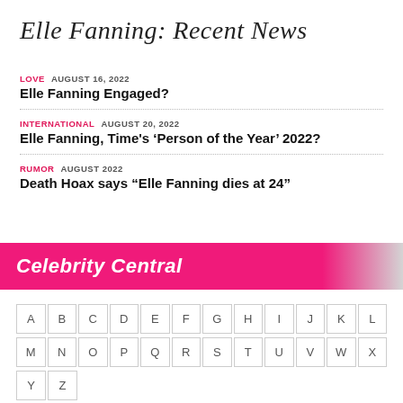Elle Fanning: Recent News
LOVE  AUGUST 16, 2022
Elle Fanning Engaged?
INTERNATIONAL  AUGUST 20, 2022
Elle Fanning, Time's 'Person of the Year' 2022?
RUMOR  AUGUST 2022
Death Hoax says "Elle Fanning dies at 24"
Celebrity Central
A B C D E F G H I J K L M N O P Q R S T U V W X Y Z